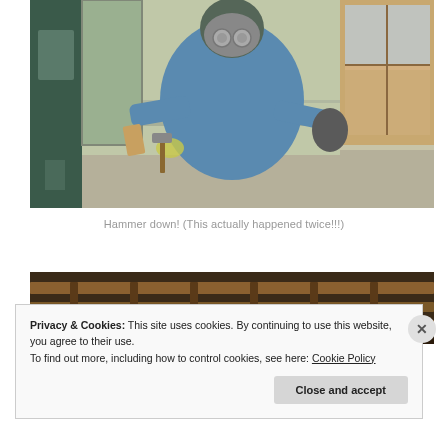[Figure (photo): A person wearing a blue long-sleeve shirt and a gray gas/respirator mask, holding tools (including what appears to be a hammer) in both hands, standing inside a room under renovation. The background shows walls with exposed areas and a window with wood framing.]
Hammer down! (This actually happened twice!!!)
[Figure (photo): Partial view of exposed wooden ceiling joists/framing, showing the structure of a building under renovation.]
Privacy & Cookies: This site uses cookies. By continuing to use this website, you agree to their use.
To find out more, including how to control cookies, see here: Cookie Policy